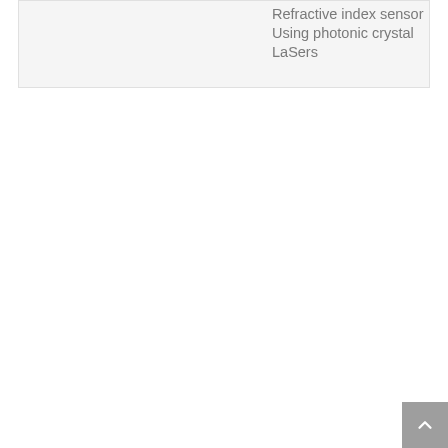Refractive index sensor Using photonic crystal LaSers